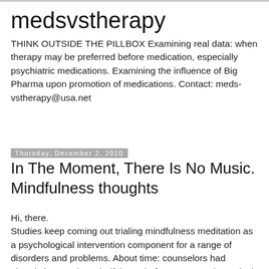medsvstherapy
THINK OUTSIDE THE PILLBOX Examining real data: when therapy may be preferred before medication, especially psychiatric medications. Examining the influence of Big Pharma upon promotion of medications. Contact: meds-vstherapy@usa.net
Thursday, December 2, 2010
In The Moment, There Is No Music. Mindfulness thoughts
Hi, there.
Studies keep coming out trialing mindfulness meditation as a psychological intervention component for a range of disorders and problems. About time: counselors had already been using mindfulness before any actual emprical evidence was ever out there. But hey, does that ever stop anyone?